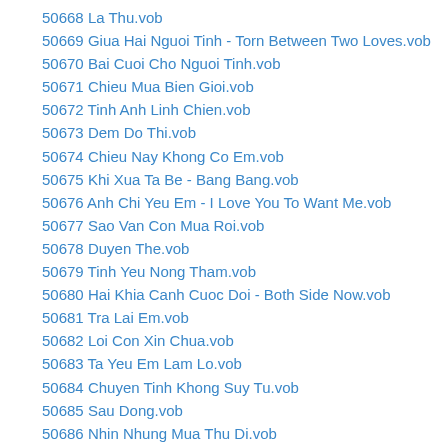50668 La Thu.vob
50669 Giua Hai Nguoi Tinh - Torn Between Two Loves.vob
50670 Bai Cuoi Cho Nguoi Tinh.vob
50671 Chieu Mua Bien Gioi.vob
50672 Tinh Anh Linh Chien.vob
50673 Dem Do Thi.vob
50674 Chieu Nay Khong Co Em.vob
50675 Khi Xua Ta Be - Bang Bang.vob
50676 Anh Chi Yeu Em - I Love You To Want Me.vob
50677 Sao Van Con Mua Roi.vob
50678 Duyen The.vob
50679 Tinh Yeu Nong Tham.vob
50680 Hai Khia Canh Cuoc Doi - Both Side Now.vob
50681 Tra Lai Em.vob
50682 Loi Con Xin Chua.vob
50683 Ta Yeu Em Lam Lo.vob
50684 Chuyen Tinh Khong Suy Tu.vob
50685 Sau Dong.vob
50686 Nhin Nhung Mua Thu Di.vob
50687 Si Me Tinh Em - I Can Not Help Falling In Love.vob
50688 Mo Khuc Tuong Phung.vob